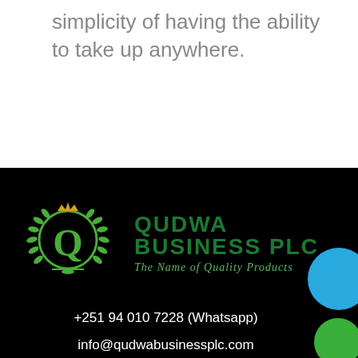simplicity of having the ability to take up anywhere.
[Figure (logo): Qudwa Business PLC logo with laurel wreath emblem and tagline 'The Name of Quality Products']
+251 94 010 7228 (Whatsapp)
info@qudwabusinessplc.com
Markato Market, Addis Abbaba, Ethiopiq